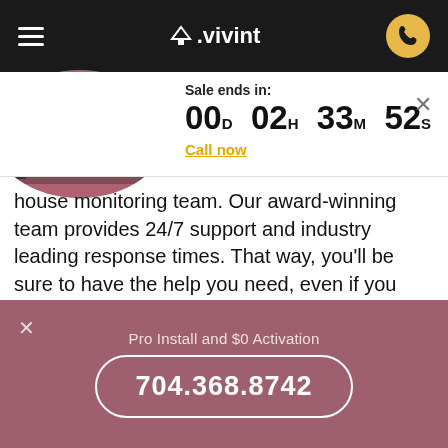≡  △.vivint  ☎
Sale ends in:
00D 02H 33M 52S
Call now
[Figure (screenshot): Vivint smart home security camera and devices shown on a reddish-pink circular background in the sale banner]
house monitoring team. Our award-winning team provides 24/7 support and industry leading response times. That way, you'll be sure to have the help you need, even if you can't get to the phone.
[Figure (illustration): Chat/support button with teal circular icon and red badge showing '1']
Pro Install and $0 Activation
704.368.8742